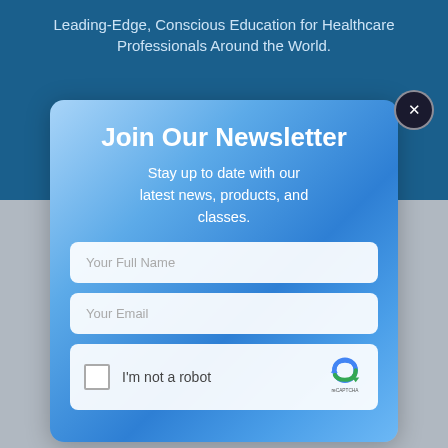Leading-Edge, Conscious Education for Healthcare Professionals Around the World.
[Figure (screenshot): Newsletter signup modal overlay on a blue healthcare website background. Modal has gradient blue background with title 'Join Our Newsletter', subtitle text, two input fields for Full Name and Email, and a reCAPTCHA checkbox at the bottom. A close button (X) appears in the top-right corner.]
Join Our Newsletter
Stay up to date with our latest news, products, and classes.
Your Full Name
Your Email
I'm not a robot
reCAPTCHA